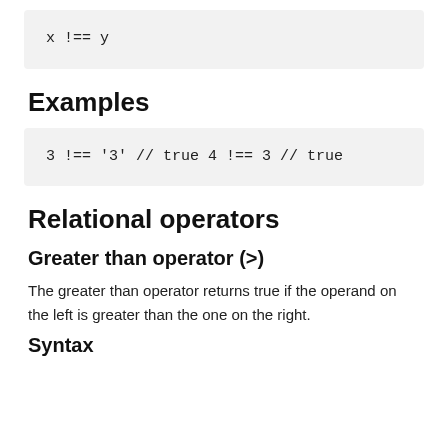[Figure (screenshot): Code block showing: x !== y]
Examples
[Figure (screenshot): Code block showing: 3 !== '3' // true 4 !== 3 // true]
Relational operators
Greater than operator (>)
The greater than operator returns true if the operand on the left is greater than the one on the right.
Syntax